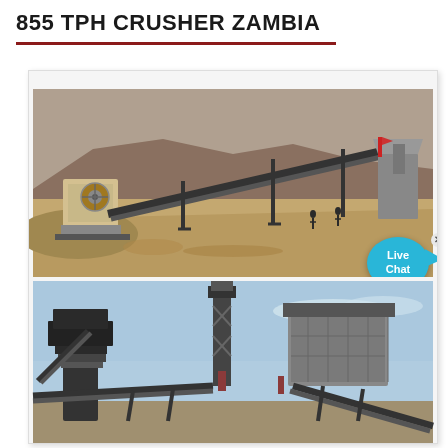855 TPH CRUSHER ZAMBIA
[Figure (photo): Industrial crusher plant with conveyor belts set in an arid, rocky landscape with mountains in the background. Heavy machinery including jaw crushers and inclined conveyor belts visible. Workers seen near the equipment.]
[Figure (photo): Close-up view of industrial crusher machinery and conveyor systems against a blue sky. Multiple levels of conveyor belts and crushing equipment visible.]